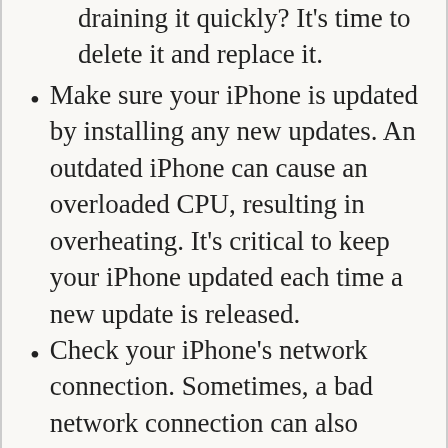draining it quickly? It's time to delete it and replace it.
Make sure your iPhone is updated by installing any new updates. An outdated iPhone can cause an overloaded CPU, resulting in overheating. It's critical to keep your iPhone updated each time a new update is released.
Check your iPhone's network connection. Sometimes, a bad network connection can also cause your iPhone to go into overdrive while searching for a signal. This can happen in areas with bad service or when Wi-Fi isn't detected.
Try changing the brightness of your iPhone's screen. Sometimes, having your iPhone's brightness on the maximum level can cause it to overheat while in use. Simply access the iOS control center and use the brightness slider to